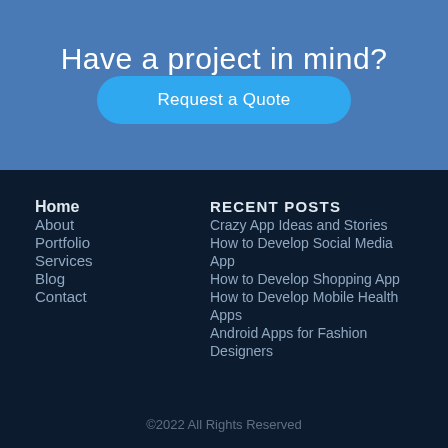Have a project in mind?
Request a Quote
Home
About
Portfolio
Services
Blog
Contact
RECENT POSTS
Crazy App Ideas and Stories
How to Develop Social Media App
How to Develop Shopping App
How to Develop Mobile Health Apps
Android Apps for Fashion Designers
©2022 All Rights Reserved